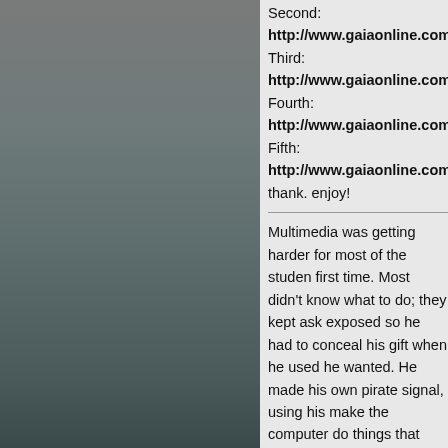Second: http://www.gaiaonline.com/arena/writing/...
Third: http://www.gaiaonline.com/arena/writing/fi...
Fourth: http://www.gaiaonline.com/arena/writing/...
Fifth: http://www.gaiaonline.com/arena/writing/fio...
thank. enjoy!
Multimedia was getting harder for most of the studen... first time. Most didn't know what to do; they kept ask... exposed so he had to conceal his gift when he used... he wanted. He made his own pirate signal, using his... make the computer do things that would be hard eve... had to make a ball bounce along a "W" shaped path... he just made it bounce like everyone else's. To add... the end of the bounce. Ms. Jarvinen walked by as K... a freak, but Ms, Jarvinen was the only teacher in the... know if Kevin really made the ball pop, or if he used...
“Wow. That’s really good. Can you show me how yo...
Kevin jumped at the sound of the chocolate lab’s vo... popping without using his power. He flattened his ea... popping segment.
Giving a small smile, Ms. Jarvinen walked away. Kn... just saved it and left the bouncing ball. He wondered... everyone knew her secret too.
Thinking of Jessica reminded him of Roy. Three day... Government had found Roy and sterilized him. He...